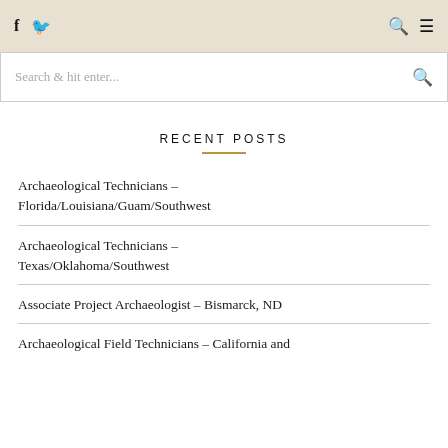f  🐦  🔍  ☰
Search & hit enter...
RECENT POSTS
Archaeological Technicians – Florida/Louisiana/Guam/Southwest
Archaeological Technicians – Texas/Oklahoma/Southwest
Associate Project Archaeologist – Bismarck, ND
Archaeological Field Technicians – California and